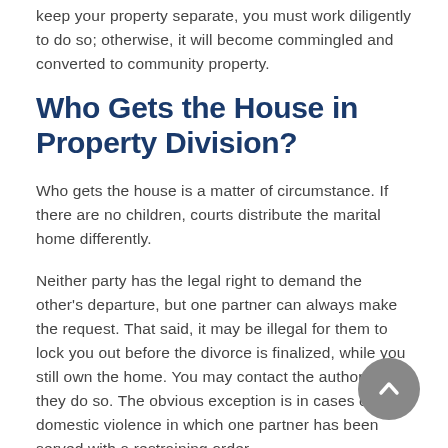keep your property separate, you must work diligently to do so; otherwise, it will become commingled and converted to community property.
Who Gets the House in Property Division?
Who gets the house is a matter of circumstance. If there are no children, courts distribute the marital home differently.
Neither party has the legal right to demand the other's departure, but one partner can always make the request. That said, it may be illegal for them to lock you out before the divorce is finalized, while you still own the home. You may contact the authorities if they do so. The obvious exception is in cases of domestic violence in which one partner has been served with a restraining order.
Caution: Unhappy relationships can become extremely